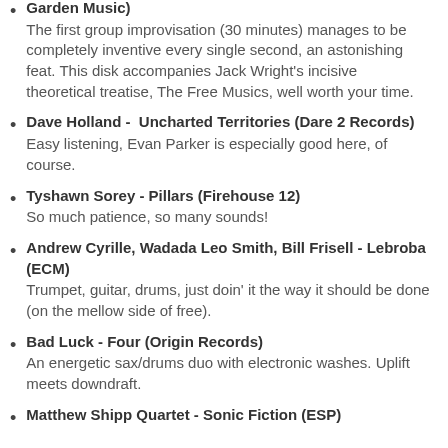Garden Music) — The first group improvisation (30 minutes) manages to be completely inventive every single second, an astonishing feat. This disk accompanies Jack Wright's incisive theoretical treatise, The Free Musics, well worth your time.
Dave Holland - Uncharted Territories (Dare 2 Records) — Easy listening, Evan Parker is especially good here, of course.
Tyshawn Sorey - Pillars (Firehouse 12) — So much patience, so many sounds!
Andrew Cyrille, Wadada Leo Smith, Bill Frisell - Lebroba (ECM) — Trumpet, guitar, drums, just doin' it the way it should be done (on the mellow side of free).
Bad Luck - Four (Origin Records) — An energetic sax/drums duo with electronic washes. Uplift meets downdraft.
Matthew Shinn Quartet - Sonic Fiction (ESP)